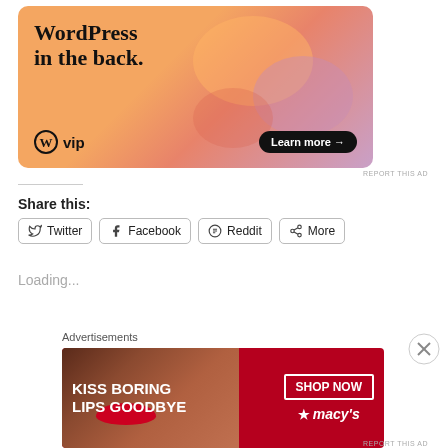[Figure (illustration): WordPress VIP advertisement banner with orange/pink gradient background, bold text 'WordPress in the back.' and a 'Learn more →' button.]
REPORT THIS AD
Share this:
[Figure (illustration): Social share buttons: Twitter, Facebook, Reddit, More]
Loading...
Advertisements
[Figure (illustration): Macy's advertisement banner with text 'KISS BORING LIPS GOODBYE' and 'SHOP NOW' button with Macy's logo, red background with lipstick photo.]
REPORT THIS AD